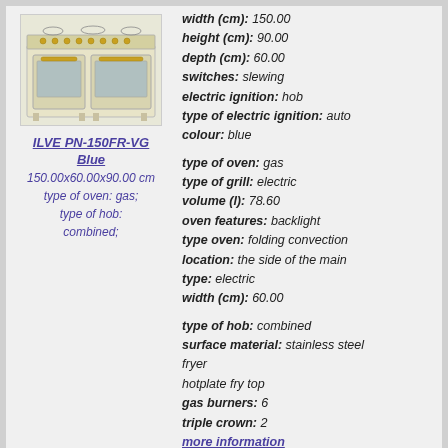[Figure (photo): Photo of ILVE PN-150FR-VG Blue kitchen stove, cream/ivory colored range cooker with two oven doors and gas hob]
ILVE PN-150FR-VG Blue
150.00x60.00x90.00 cm
type of oven: gas;
type of hob: combined;
width (cm): 150.00
height (cm): 90.00
depth (cm): 60.00
switches: slewing
electric ignition: hob
type of electric ignition: auto
colour: blue

type of oven: gas
type of grill: electric
volume (l): 78.60
oven features: backlight
type oven: folding convection
location: the side of the main
type: electric
width (cm): 60.00

type of hob: combined
surface material: stainless steel
fryer
hotplate fry top
gas burners: 6
triple crown: 2
more information
Kitchen Stove ILVE PN-150FR-VG Matt
manufacturer: ILVE
clock
drawer sideboard
availability display
availability timer